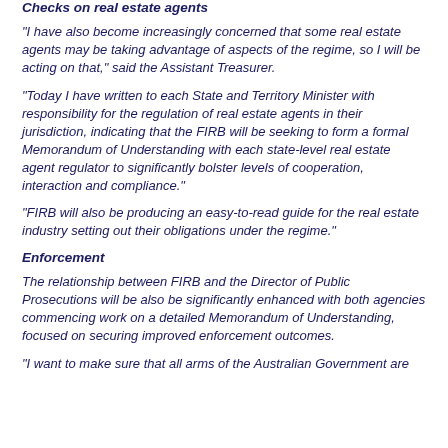Checks on real estate agents
"I have also become increasingly concerned that some real estate agents may be taking advantage of aspects of the regime, so I will be acting on that," said the Assistant Treasurer.
"Today I have written to each State and Territory Minister with responsibility for the regulation of real estate agents in their jurisdiction, indicating that the FIRB will be seeking to form a formal Memorandum of Understanding with each state-level real estate agent regulator to significantly bolster levels of cooperation, interaction and compliance."
"FIRB will also be producing an easy-to-read guide for the real estate industry setting out their obligations under the regime."
Enforcement
The relationship between FIRB and the Director of Public Prosecutions will be also be significantly enhanced with both agencies commencing work on a detailed Memorandum of Understanding, focused on securing improved enforcement outcomes.
"I want to make sure that all arms of the Australian Government are